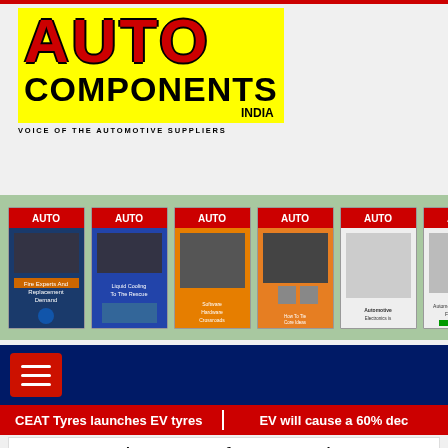[Figure (logo): Auto Components India magazine logo - yellow background with red AUTO text and black COMPONENTS text, tagline VOICE OF THE AUTOMOTIVE SUPPLIERS]
[Figure (illustration): A horizontal carousel strip showing 7 magazine covers of Auto Components India on a green/sage background]
[Figure (screenshot): Dark navy blue navigation bar with a red hamburger menu button]
CEAT Tyres launches EV tyres
EV will cause a 60% dec
GGB Bearings eyes future products